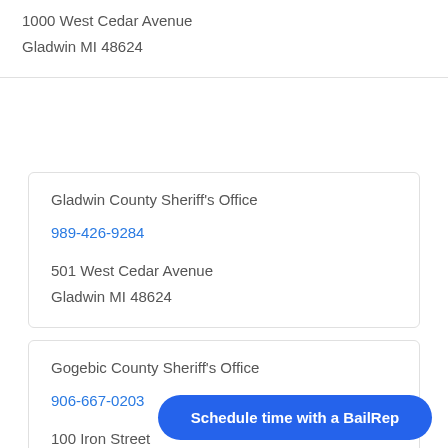1000 West Cedar Avenue
Gladwin MI 48624
Gladwin County Sheriff's Office
989-426-9284
501 West Cedar Avenue
Gladwin MI 48624
Gogebic County Sheriff's Office
906-667-0203
100 Iron Street
Bessemer MI 49911
Schedule time with a BailRep